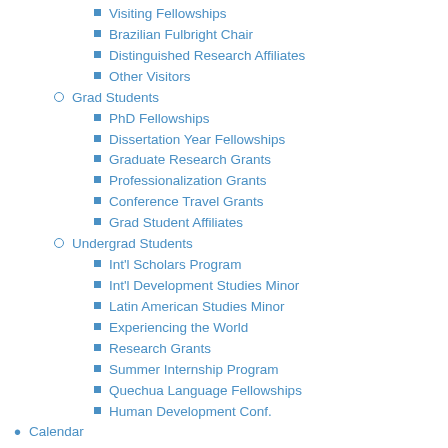Visiting Fellowships
Brazilian Fulbright Chair
Distinguished Research Affiliates
Other Visitors
Grad Students
PhD Fellowships
Dissertation Year Fellowships
Graduate Research Grants
Professionalization Grants
Conference Travel Grants
Grad Student Affiliates
Undergrad Students
Int'l Scholars Program
Int'l Development Studies Minor
Latin American Studies Minor
Experiencing the World
Research Grants
Summer Internship Program
Quechua Language Fellowships
Human Development Conf.
Calendar
News